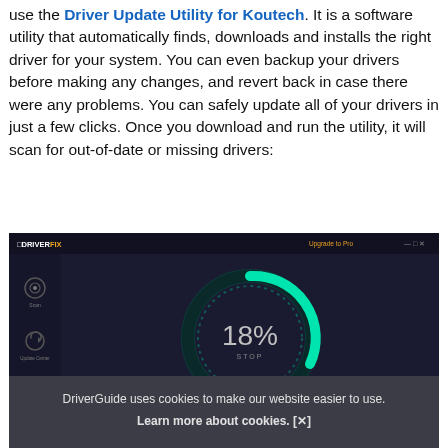use the Driver Update Utility for Koutech. It is a software utility that automatically finds, downloads and installs the right driver for your system. You can even backup your drivers before making any changes, and revert back in case there were any problems. You can safely update all of your drivers in just a few clicks. Once you download and run the utility, it will scan for out-of-date or missing drivers:
[Figure (screenshot): Screenshot of DriverFIX application showing a circular progress ring at 18% with STOP button, dark UI with sidebar icons for Scan and Update Center, and a cookie consent banner overlay reading 'DriverGuide uses cookies to make our website easier to use. Learn more about cookies. [x]']